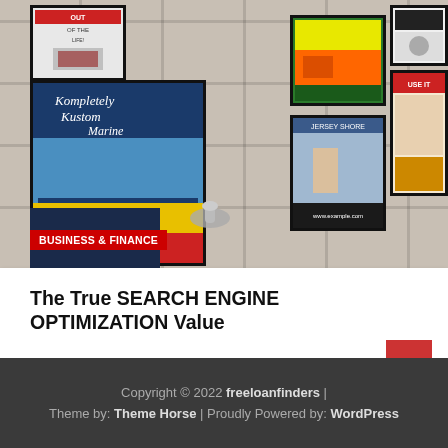[Figure (photo): Photo of framed posters/advertisements hanging on a tiled wall in what appears to be a public restroom, including 'Kompletely Kustom Marine' poster and various other colorful framed ads. Bathroom fixtures visible at bottom.]
BUSINESS & FINANCE
The True SEARCH ENGINE OPTIMIZATION Value
August 11, 2022 / Ruth B. Brooks
Copyright © 2022 freeloanfinders  |  Theme by: Theme Horse  |  Proudly Powered by: WordPress